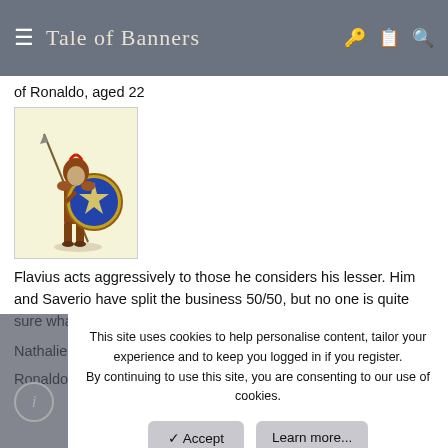Tale of Banners
of Ronaldo, aged 22
[Figure (illustration): A medieval warrior in armor holding a spear and round shield with a star pattern, standing on a light yellow background.]
Flavius acts aggressively to those he considers his lesser. Him and Saverio have split the business 50/50, but no one is quite sure what Flavius does apart from security.
Nathalie Caviety, Wife of Saverio, Mother of Ronaldo, aged 35
Ronaldo Caveity, Son of Saverio, Son of Nathalie, Nephew of
This site uses cookies to help personalise content, tailor your experience and to keep you logged in if you register.
By continuing to use this site, you are consenting to our use of cookies.